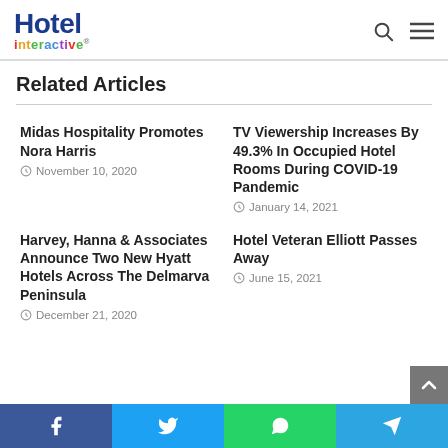Hotel interactive®
Related Articles
Midas Hospitality Promotes Nora Harris
November 10, 2020
TV Viewership Increases By 49.3% In Occupied Hotel Rooms During COVID-19 Pandemic
January 14, 2021
Harvey, Hanna & Associates Announce Two New Hyatt Hotels Across The Delmarva Peninsula
December 21, 2020
Hotel Veteran Elliott Passes Away
June 15, 2021
Facebook Twitter WhatsApp Telegram